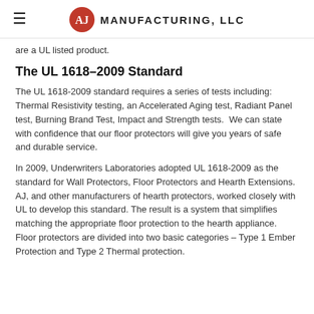AJ Manufacturing, LLC
are a UL listed product.
The UL 1618–2009 Standard
The UL 1618-2009 standard requires a series of tests including: Thermal Resistivity testing, an Accelerated Aging test, Radiant Panel test, Burning Brand Test, Impact and Strength tests.  We can state with confidence that our floor protectors will give you years of safe and durable service.
In 2009, Underwriters Laboratories adopted UL 1618-2009 as the standard for Wall Protectors, Floor Protectors and Hearth Extensions.  AJ, and other manufacturers of hearth protectors, worked closely with UL to develop this standard. The result is a system that simplifies matching the appropriate floor protection to the hearth appliance.  Floor protectors are divided into two basic categories – Type 1 Ember Protection and Type 2 Thermal protection.